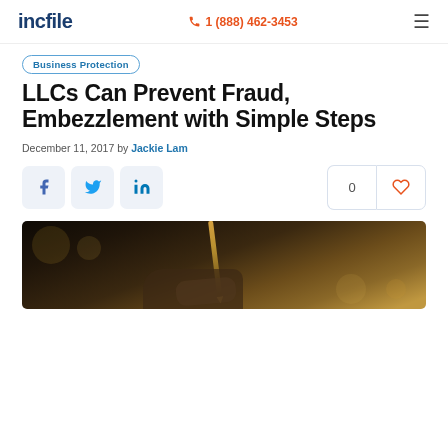incfile | 1 (888) 462-3453
Business Protection
LLCs Can Prevent Fraud, Embezzlement with Simple Steps
December 11, 2017 by Jackie Lam
[Figure (other): Social sharing buttons for Facebook, Twitter, LinkedIn, and a like counter showing 0 with heart icon]
[Figure (photo): Close-up photo of a hand holding a pen or pencil, writing, with dark bokeh background]